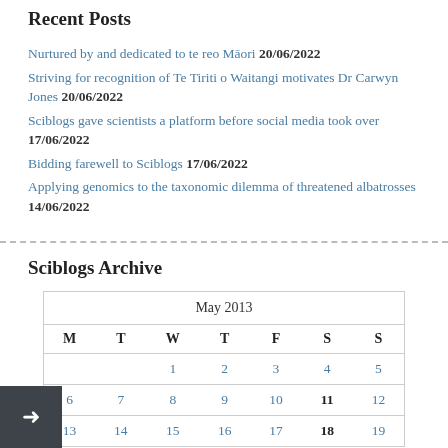Recent Posts
Nurtured by and dedicated to te reo Māori 20/06/2022
Striving for recognition of Te Tiriti o Waitangi motivates Dr Carwyn Jones 20/06/2022
Sciblogs gave scientists a platform before social media took over 17/06/2022
Bidding farewell to Sciblogs 17/06/2022
Applying genomics to the taxonomic dilemma of threatened albatrosses 14/06/2022
Sciblogs Archive
| M | T | W | T | F | S | S |
| --- | --- | --- | --- | --- | --- | --- |
|  |  | 1 | 2 | 3 | 4 | 5 |
| 6 | 7 | 8 | 9 | 10 | 11 | 12 |
| 13 | 14 | 15 | 16 | 17 | 18 | 19 |